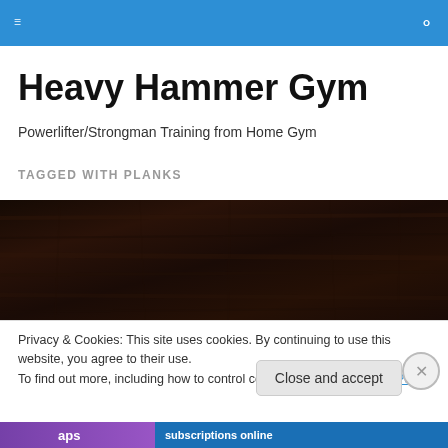Heavy Hammer Gym [navigation header with hamburger menu and search icon]
Heavy Hammer Gym
Powerlifter/Strongman Training from Home Gym
TAGGED WITH PLANKS
[Figure (photo): Dark brown wood grain textured surface, very dark background]
Privacy & Cookies: This site uses cookies. By continuing to use this website, you agree to their use.
To find out more, including how to control cookies, see here: Cookie Policy
Close and accept